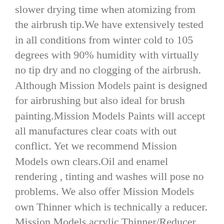slower drying time when atomizing from the airbrush tip.We have extensively tested in all conditions from winter cold to 105 degrees with 90% humidity with virtually no tip dry and no clogging of the airbrush. Although Mission Models paint is designed for airbrushing but also ideal for brush painting.Mission Models Paints will accept all manufactures clear coats with out conflict. Yet we recommend Mission Models own clears.Oil and enamel rendering , tinting and washes will pose no problems. We also offer Mission Models own Thinner which is technically a reducer. Mission Models acrylic Thinner/Reducer acts as two different products. It is Mission Models Thinner and Mission Models airbrush cleaner. Many other products on the market require a separate reducer, flow enhancer, thinner and AB cleaner. Not Mission Modelss. Simply add the thinner to Mission Models